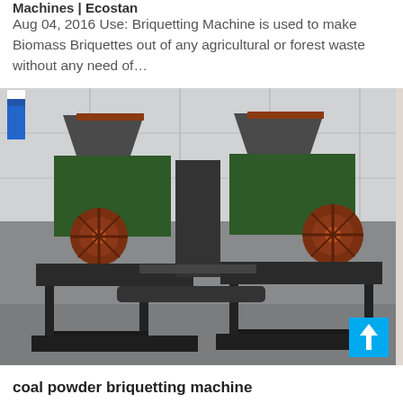Machines | Ecostan
Aug 04, 2016 Use: Briquetting Machine is used to make Biomass Briquettes out of any agricultural or forest waste without any need of…
[Figure (photo): Two coal powder briquetting machines side by side on a factory floor. Each machine has a large dark hopper on top, green metal body with large red/brown flywheel wheels on the sides, and sits on a heavy black steel frame. Background shows a grey industrial building wall with a blue banner/flag on the left.]
coal powder briquetting machine